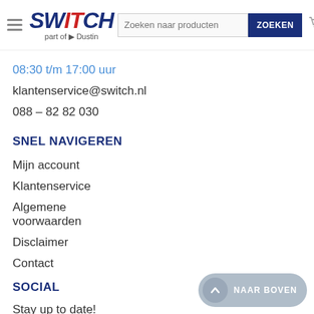Switch part of Dustin — navigation header with search
08:30 t/m 17:00 uur
klantenservice@switch.nl
088 – 82 82 030
SNEL NAVIGEREN
Mijn account
Klantenservice
Algemene voorwaarden
Disclaimer
Contact
SOCIAL
Stay up to date!